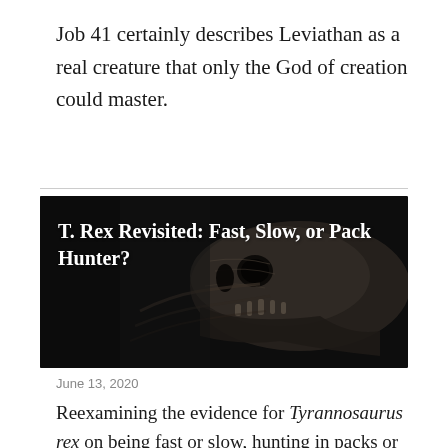Job 41 certainly describes Leviathan as a real creature that only the God of creation could master.
[Figure (photo): Dark banner image of a T. Rex dinosaur skull fossil on display, with white bold text overlay reading 'T. Rex Revisited: Fast, Slow, or Pack Hunter?']
June 13, 2020
Reexamining the evidence for Tyrannosaurus rex on being fast or slow, hunting in packs or alone, using the latest research with a biblical perspective.